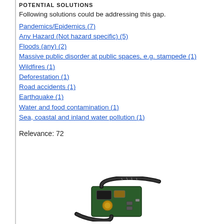POTENTIAL SOLUTIONS
Following solutions could be addressing this gap.
Pandemics/Epidemics (7)
Any Hazard (Not hazard specific) (5)
Floods (any) (2)
Massive public disorder at public spaces, e.g. stampede (1)
Wildfires (1)
Deforestation (1)
Road accidents (1)
Earthquake (1)
Water and food contamination (1)
Sea, coastal and inland water pollution (1)
Relevance: 72
[Figure (photo): Photo of an electronic circuit board/device with flex cable, resembling a wearable sensor or similar hardware component.]